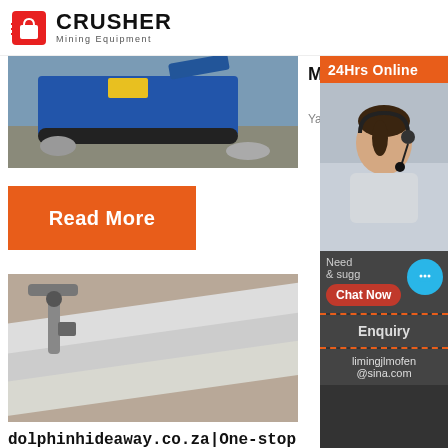[Figure (logo): Crusher Mining Equipment logo with red shopping bag icon and bold text]
[Figure (photo): Blue mining crusher machine working on rocky ground]
Manufacturer
Yantai KZ Mining Pro...
[Figure (other): Orange Read More button]
[Figure (other): 24Hrs Online sidebar with customer service representative photo, chat now button, Enquiry section, and limingjlmofen@sina.com email]
[Figure (photo): Vibrating screen industrial equipment close-up]
dolphinhideaway.co.za|One-stop for mineral ...